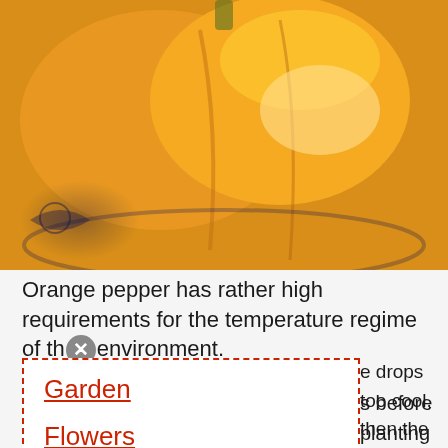[Figure (photo): Close-up photo of orange bell peppers on a decorative plate with dark blue pattern]
Orange pepper has rather high requirements for the temperature regime of the environment.
Garden
Flowers
Animals
e drops too cool, then the nally warmed. Plants growing in an ed with a film.
e successful cultivation of this crop and air. The air and soil must not be
s before planting orange peppers se. If the weather conditions in hen you should not plant your